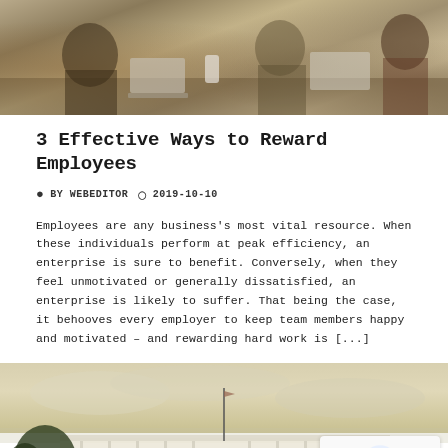[Figure (photo): Photo of people working together at a table with laptops — office/business meeting scene, warm tones]
3 Effective Ways to Reward Employees
BY WEBEDITOR  2019-10-10
Employees are any business's most vital resource. When these individuals perform at peak efficiency, an enterprise is sure to benefit. Conversely, when they feel unmotivated or generally dissatisfied, an enterprise is likely to suffer. That being the case, it behooves every employer to keep team members happy and motivated – and rewarding hard work is [...]
[Figure (photo): Outdoor photo of a large white governmental or institutional building with a flagpole, trees in foreground, overcast sky — muted golden-green tones]